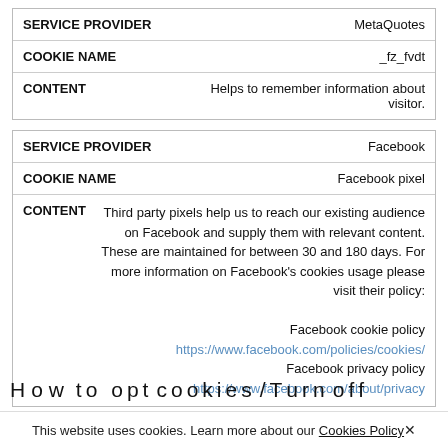| Field | Value |
| --- | --- |
| SERVICE PROVIDER | MetaQuotes |
| COOKIE NAME | _fz_fvdt |
| CONTENT | Helps to remember information about visitor. |
| Field | Value |
| --- | --- |
| SERVICE PROVIDER | Facebook |
| COOKIE NAME | Facebook pixel |
| CONTENT | Third party pixels help us to reach our existing audience on Facebook and supply them with relevant content. These are maintained for between 30 and 180 days. For more information on Facebook's cookies usage please visit their policy:

Facebook cookie policy https://www.facebook.com/policies/cookies/
Facebook privacy policy https://www.facebook.com/about/privacy |
This website uses cookies. Learn more about our Cookies Policy✕